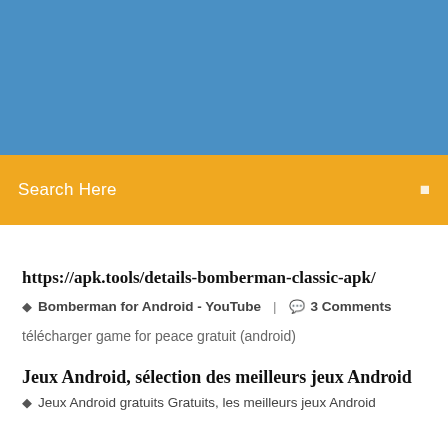[Figure (other): Blue header banner background]
Search Here
https://apk.tools/details-bomberman-classic-apk/
Bomberman for Android - YouTube  |  3 Comments
télécharger game for peace gratuit (android)
Jeux Android, sélection des meilleurs jeux Android
Jeux Android gratuits Gratuits, les meilleurs jeux Android